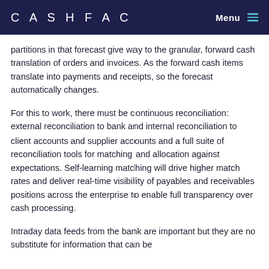CASHFAC | Menu
partitions in that forecast give way to the granular, forward cash translation of orders and invoices. As the forward cash items translate into payments and receipts, so the forecast automatically changes.
For this to work, there must be continuous reconciliation: external reconciliation to bank and internal reconciliation to client accounts and supplier accounts and a full suite of reconciliation tools for matching and allocation against expectations. Self-learning matching will drive higher match rates and deliver real-time visibility of payables and receivables positions across the enterprise to enable full transparency over cash processing.
Intraday data feeds from the bank are important but they are no substitute for information that can be